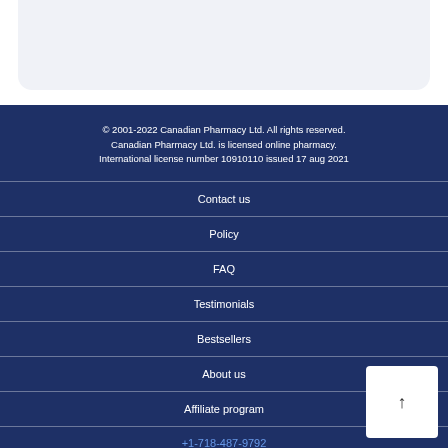© 2001-2022 Canadian Pharmacy Ltd. All rights reserved. Canadian Pharmacy Ltd. is licensed online pharmacy. International license number 10910110 issued 17 aug 2021
Contact us
Policy
FAQ
Testimonials
Bestsellers
About us
Affiliate program
+1-718-487-9792